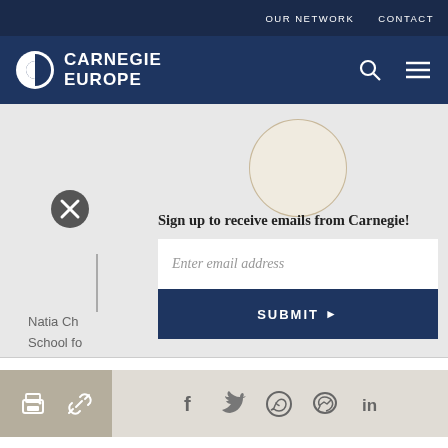OUR NETWORK   CONTACT
[Figure (logo): Carnegie Europe logo with half-circle icon and bold white text]
[Figure (photo): Circular profile photo of a woman with glasses and long dark hair]
[Figure (other): Close button (X) circle icon on the left side]
Natia Ch
School fo
Mason U
Sign up to receive emails from Carnegie!
Enter email address
SUBMIT ▶
Share icons: print, link, facebook, twitter, whatsapp, messenger, linkedin